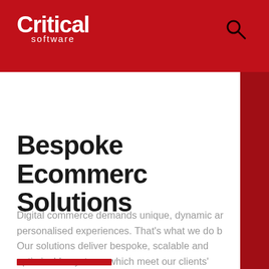Critical software
Bespoke Ecommerce Solutions
Digital commerce demands unique, dynamic and personalised experiences. That's what we do best. Our solutions deliver bespoke, scalable and optimisable systems which meet our clients' business needs. Reinvent your digital commerce platform with a trusted partner.